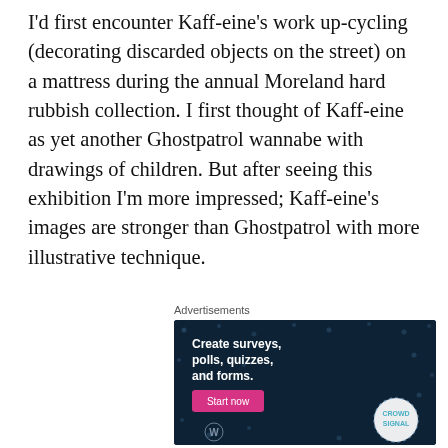I'd first encounter Kaff-eine's work up-cycling (decorating discarded objects on the street) on a mattress during the annual Moreland hard rubbish collection. I first thought of Kaff-eine as yet another Ghostpatrol wannabe with drawings of children. But after seeing this exhibition I'm more impressed; Kaff-eine's images are stronger than Ghostpatrol with more illustrative technique.
Advertisements
[Figure (infographic): Advertisement banner with dark navy background and scattered dot pattern. Text reads 'Create surveys, polls, quizzes, and forms.' with a pink 'Start now' button, WordPress logo bottom-left, and CrowdSignal logo bottom-right in a dashed circle.]